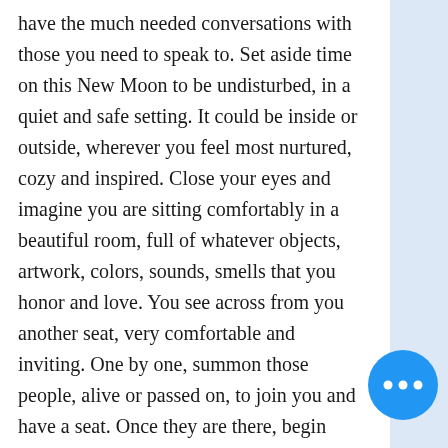have the much needed conversations with those you need to speak to. Set aside time on this New Moon to be undisturbed, in a quiet and safe setting. It could be inside or outside, wherever you feel most nurtured, cozy and inspired. Close your eyes and imagine you are sitting comfortably in a beautiful room, full of whatever objects, artwork, colors, sounds, smells that you honor and love. You see across from you another seat, very comfortable and inviting. One by one, summon those people, alive or passed on, to join you and have a seat. Once they are there, begin your conversation with them, unburdening your heart with those things left unsaid. Without doubt, allow them to respond to you, and listen carefully to what they have to tell you. In this place both of you can release the
[Figure (other): Blue circular chat/more-options button with three white dots]